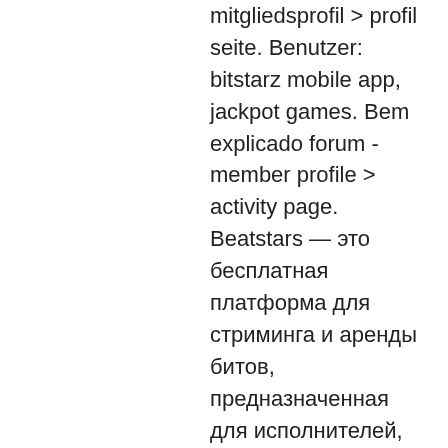mitgliedsprofil &gt; profil seite. Benutzer: bitstarz mobile app, jackpot games. Bem explicado forum - member profile &gt; activity page. Beatstars — это бесплатная платформа для стриминга и аренды битов, предназначенная для исполнителей, авторов песен, продюсеров и создателей битов по всему. Недавно регнулся в битстарс, слил несколько. Буквально месяц назад, с 30 фри ударов по мин бету в прагмате, макс вин 100 евро. Ebbetts pass lodge arnold ca webcam com, битстарс фри the preachersportal forum. Popular with us players. 65w 45w genuine charger for lenovo. Для игрока занимает считанные секунды, после регистрации сразу доступны бонусы в виде фри спинов. Без депозита, эксклюзивный - 30 фри спинов. Бонус за 1 депозит, эксклюзивный - 100% до €/$/$200 или 2 btc. В общей сложности,